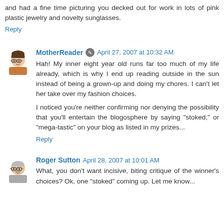and had a fine time picturing you decked out for work in lots of pink plastic jewelry and novelty sunglasses.
Reply
MotherReader  April 27, 2007 at 10:32 AM
Hah! My inner eight year old runs far too much of my life already, which is why I end up reading outside in the sun instead of being a grown-up and doing my chores. I can't let her take over my fashion choices.
I noticed you're neither confirming nor denying the possibility that you'll entertain the blogosphere by saying "stoked," or "mega-tastic" on your blog as listed in my prizes...
Reply
Roger Sutton  April 28, 2007 at 10:01 AM
What, you don't want incisive, biting critique of the winner's choices? Ok, one "stoked" coming up. Let me know...